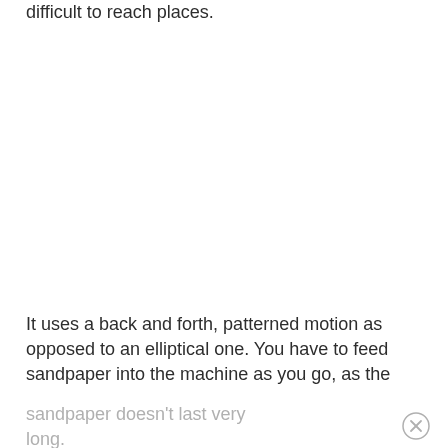difficult to reach places.
It uses a back and forth, patterned motion as opposed to an elliptical one. You have to feed sandpaper into the machine as you go, as the
sandpaper doesn't last very long.